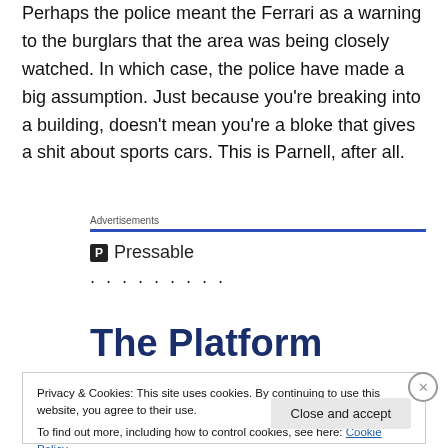Perhaps the police meant the Ferrari as a warning to the burglars that the area was being closely watched. In which case, the police have made a big assumption. Just because you're breaking into a building, doesn't mean you're a bloke that gives a shit about sports cars. This is Parnell, after all.
Advertisements
[Figure (logo): Pressable logo with icon and name, followed by dots]
The Platform
Privacy & Cookies: This site uses cookies. By continuing to use this website, you agree to their use.
To find out more, including how to control cookies, see here: Cookie Policy